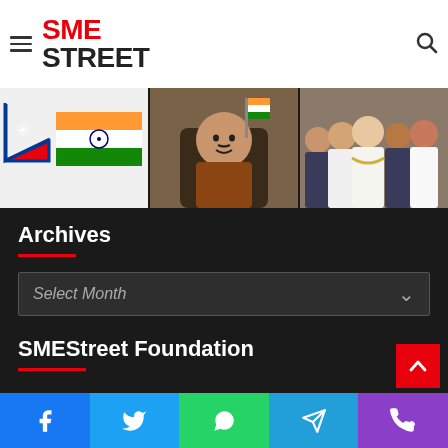SME STREET
[Figure (photo): Nepal and India flags side by side]
[Figure (photo): Man in brown shirt seated at desk with Indian flag in background]
[Figure (photo): Group of men posing together, some in white kurta]
Archives
Select Month
SMEStreet Foundation